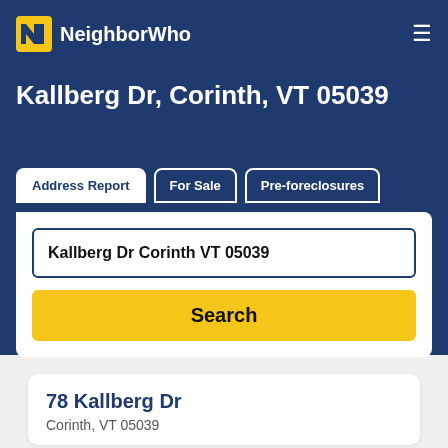NeighborWho
Kallberg Dr, Corinth, VT 05039
Address Report | For Sale | Pre-foreclosures
Kallberg Dr Corinth VT 05039
Search
78 Kallberg Dr
Corinth, VT 05039